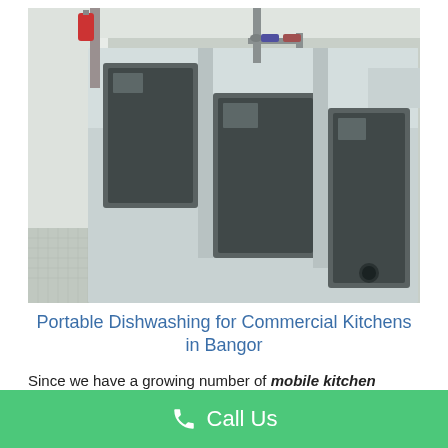[Figure (photo): Photograph of a commercial stainless steel three-compartment sink viewed from above at an angle, showing three deep sink basins with a wall-mounted faucet, in a mobile/commercial kitchen setting with white walls and a textured floor.]
Portable Dishwashing for Commercial Kitchens in Bangor
Since we have a growing number of mobile kitchen rental in Bangor customers, we have opened storage locations in all major cities in the United States. We now have a mobile kitchen in Augusta, Portland,
Call Us